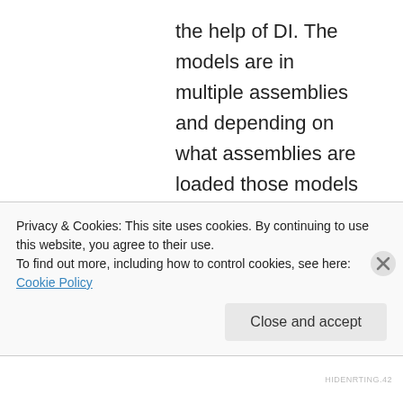the help of DI. The models are in multiple assemblies and depending on what assemblies are loaded those models are available in the context. And it is the DbContext class, we are not inheriting from it.
I made a few changes to your project you can have a look at my fork – https://codefirstfunctions.codeplex.com/SourceControl/network/forks/angelyordanov/codefirstfunctions.
Privacy & Cookies: This site uses cookies. By continuing to use this website, you agree to their use.
To find out more, including how to control cookies, see here: Cookie Policy